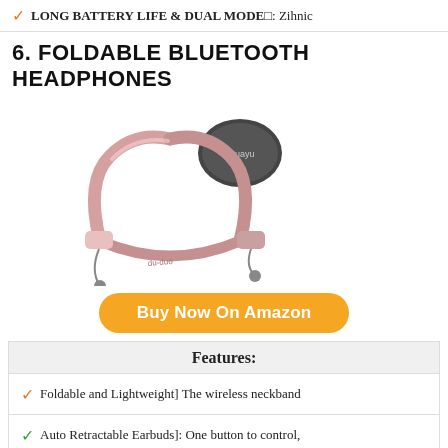LONG BATTERY LIFE & DUAL MODE□: Zihnic
6. FOLDABLE BLUETOOTH HEADPHONES
[Figure (photo): Rose gold foldable Bluetooth neckband headphones with retractable earbuds and a small carrying case]
Buy Now On Amazon
Features:
Foldable and Lightweight] The wireless neckband
Auto Retractable Earbuds]: One button to control,
Neckband Design & Vibration Reminder]: The
Bluetooth 5.
Long Battery Life]: The powerful rechargeable